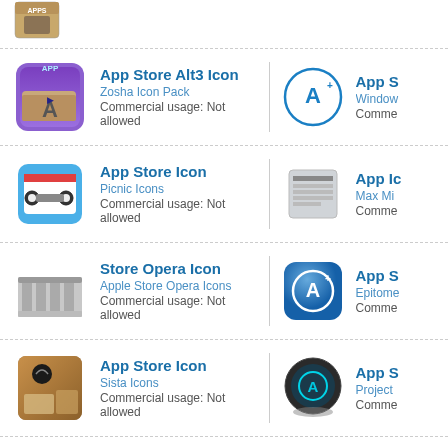[Figure (illustration): Partial icon at top (box with APPS label)]
App Store Alt3 Icon
Zosha Icon Pack
Commercial usage: Not allowed
[Figure (illustration): App Store Alt3 circular icon (blue circle with A+)]
App S
Window
Comme
App Store Icon
Picnic Icons
Commercial usage: Not allowed
[Figure (illustration): App Ic rectangular gray icon]
App Ic
Max Mi
Comme
Store Opera Icon
Apple Store Opera Icons
Commercial usage: Not allowed
[Figure (illustration): App Store blue rounded square icon with compass/A+]
App S
Epitome
Comme
App Store Icon
Sista Icons
Commercial usage: Not allowed
[Figure (illustration): App Store dark globe icon]
App S
Project
Comme
Browse Related Icons
More Icons from Zosha Icon Pack